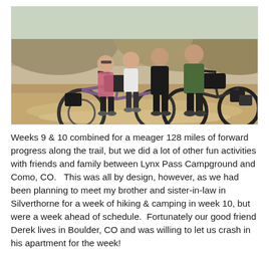[Figure (photo): Four people standing with loaded touring/mountain bikes on a dirt trail in a dry, scrubby landscape. Two women and two men, bikes heavily packed with gear and bags.]
Weeks 9 & 10 combined for a meager 128 miles of forward progress along the trail, but we did a lot of other fun activities with friends and family between Lynx Pass Campground and Como, CO.   This was all by design, however, as we had been planning to meet my brother and sister-in-law in Silverthorne for a week of hiking & camping in week 10, but were a week ahead of schedule.  Fortunately our good friend Derek lives in Boulder, CO and was willing to let us crash in his apartment for the week!